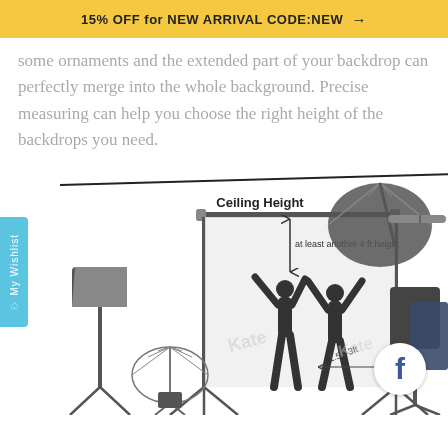15% OFF for NEW ARRIVAL CODE:NEW →
some ornaments and the extended part of your backdrop can perfectly merge into the whole background. Precise measuring can help you choose the right height of the backdrops you need.
[Figure (illustration): Photography studio setup diagram showing ceiling height line at top, a backdrop on a crossbar stand, two silhouetted people with arms raised in front of the backdrop, studio lighting equipment (softboxes and umbrella lights on stands), annotations showing 'Ceiling Height', 'at least another 4 ft height', and '1.5ft-3ft' measurement. Watermark text 'Kate backdrop' visible. A 'My Wishlist' tab on the left and a Facebook button on the lower right.]